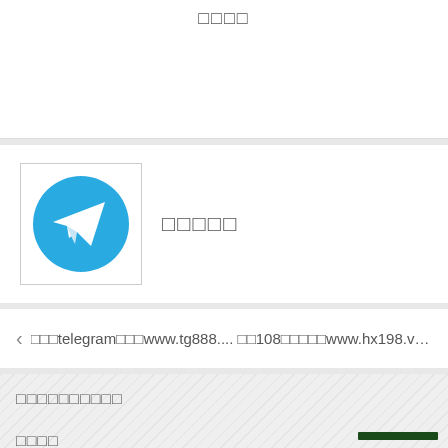□□□□
[Figure (logo): Telegram app icon — blue circle with white paper plane arrow pointing upper right]
□□□□□
□□□telegram□□□www.tg888.... □□108□□□□□www.hx198.vip□_Ax...
□□□□□□□□□□
□□□□